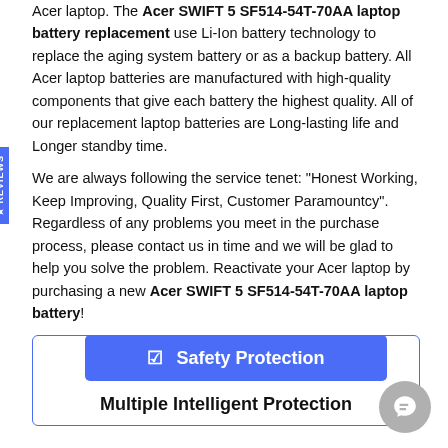Acer laptop. The Acer SWIFT 5 SF514-54T-70AA laptop battery replacement use Li-Ion battery technology to replace the aging system battery or as a backup battery. All Acer laptop batteries are manufactured with high-quality components that give each battery the highest quality. All of our replacement laptop batteries are Long-lasting life and Longer standby time.
We are always following the service tenet: "Honest Working, Keep Improving, Quality First, Customer Paramountcy". Regardless of any problems you meet in the purchase process, please contact us in time and we will be glad to help you solve the problem. Reactivate your Acer laptop by purchasing a new Acer SWIFT 5 SF514-54T-70AA laptop battery!
[Figure (infographic): A blue button labeled 'Safety Protection' with a checkmark icon, inside a bordered box that also contains the text 'Multiple Intelligent Protection']